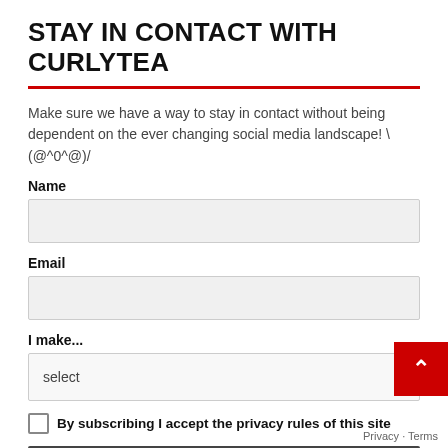STAY IN CONTACT WITH CURLYTEA
Make sure we have a way to stay in contact without being dependent on the ever changing social media landscape! \(@^0^@)/
Name
Email
I make...
By subscribing I accept the privacy rules of this site
Get Free Newsletter